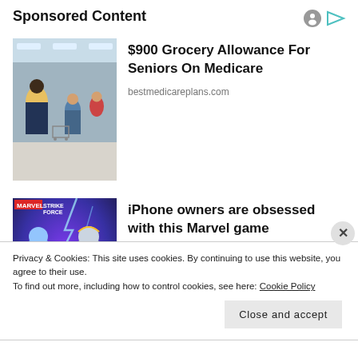Sponsored Content
[Figure (photo): Grocery store interior with shoppers and shopping carts in an aisle]
$900 Grocery Allowance For Seniors On Medicare
bestmedicareplans.com
[Figure (photo): Marvel Strike Force game promotional image showing characters KYRIE and MIGHTY TH... with lightning effects]
iPhone owners are obsessed with this Marvel game
MARVEL Strike Force
Privacy & Cookies: This site uses cookies. By continuing to use this website, you agree to their use.
To find out more, including how to control cookies, see here: Cookie Policy
Close and accept